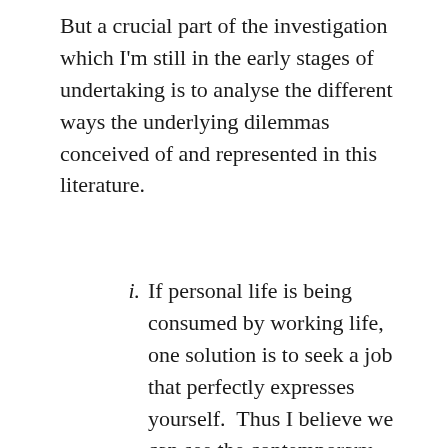But a crucial part of the investigation which I'm still in the early stages of undertaking is to analyse the different ways the underlying dilemmas conceived of and represented in this literature.
If personal life is being consumed by working life, one solution is to seek a job that perfectly expresses yourself.  Thus I believe we can see the contemporary resurgence of the notion of the vocation as  something